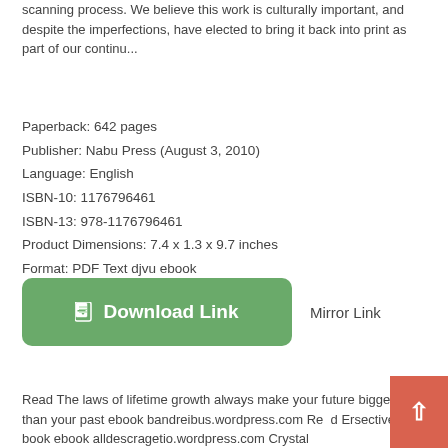scanning process. We believe this work is culturally important, and despite the imperfections, have elected to bring it back into print as part of our continu...
Paperback: 642 pages
Publisher: Nabu Press (August 3, 2010)
Language: English
ISBN-10: 1176796461
ISBN-13: 978-1176796461
Product Dimensions: 7.4 x 1.3 x 9.7 inches
Format: PDF Text djvu ebook
[Figure (other): Green rounded rectangle Download Link button with document icon, and Mirror Link text to the right]
Read The laws of lifetime growth always make your future bigger than your past ebook bandreibus.wordpress.com Read Ersective book ebook alldescragetio.wordpress.com Crystal